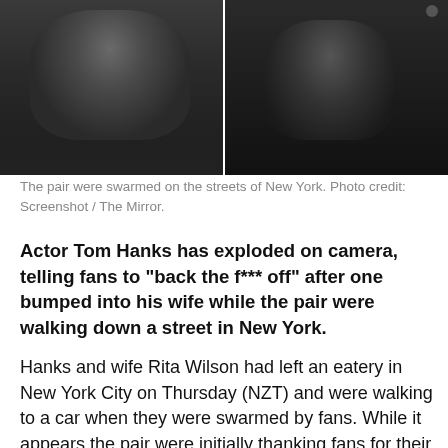[Figure (photo): Two side-by-side screenshot photos of people on the street in New York, low light, dark clothing. Left photo shows a person from the chest up, right photo shows another person partially visible.]
The pair were swarmed on the streets of New York. Photo credit: Screenshot / The Mirror.
Actor Tom Hanks has exploded on camera, telling fans to "back the f*** off" after one bumped into his wife while the pair were walking down a street in New York.
Hanks and wife Rita Wilson had left an eatery in New York City on Thursday (NZT) and were walking to a car when they were swarmed by fans. While it appears the pair were initially thanking fans for their appreciation, it quickly becomes clear Hanks is uncomfortable with being mobbed.